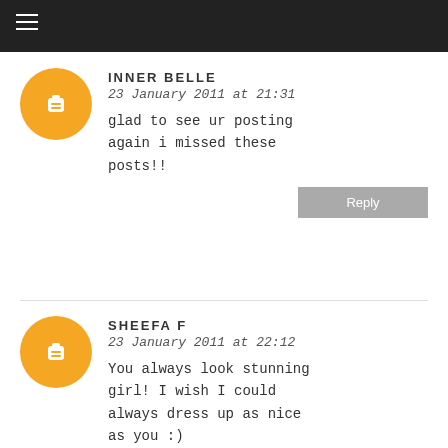INNER BELLE
23 January 2011 at 21:31
glad to see ur posting again i missed these posts!!
SHEEFA F
23 January 2011 at 22:12
You always look stunning girl! I wish I could always dress up as nice as you :)